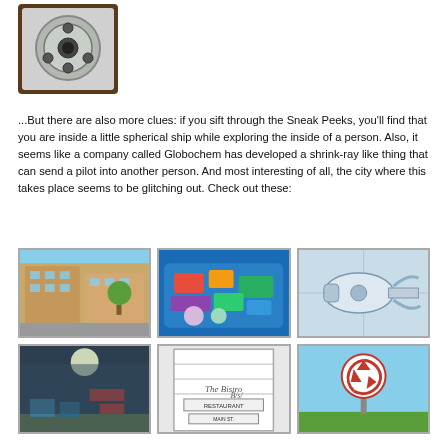[Figure (illustration): Top image: circular device resembling a security camera or control panel, gray with buttons, dark brown border]
...But there are also more clues: if you sift through the Sneak Peeks, you'll find that you are inside a little spherical ship while exploring the inside of a person. Also, it seems like a company called Globochem has developed a shrink-ray like thing that can send a pilot into another person. And most interesting of all, the city where this takes place seems to be glitching out. Check out these:
[Figure (illustration): Grid of 6 game screenshots: city street scene, colorful items in blue tray, mechanical device blueprint, night alley scene, building with signs, recycling sign on green ground with blue sky]